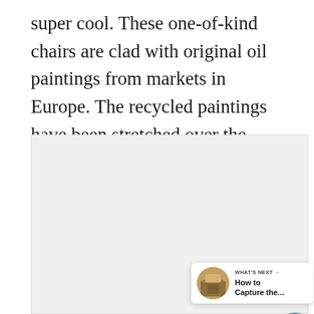super cool. These one-of-kind chairs are clad with original oil paintings from markets in Europe. The recycled paintings have been stretched over the seats (source). The unique pendant light fixtures suspended over the table were found here.
[Figure (photo): A large light gray placeholder image area representing a photograph, with UI overlays: a teal heart/like button showing 2.9K count, a share button, and a 'What's Next' card showing 'How to Capture the...' with a circular thumbnail.]